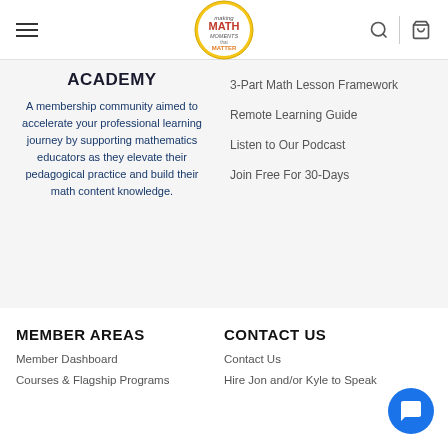Making Math Moments that Matter Academy
ACADEMY
A membership community aimed to accelerate your professional learning journey by supporting mathematics educators as they elevate their pedagogical practice and build their math content knowledge.
3-Part Math Lesson Framework
Remote Learning Guide
Listen to Our Podcast
Join Free For 30-Days
MEMBER AREAS
CONTACT US
Member Dashboard
Courses & Flagship Programs
Contact Us
Hire Jon and/or Kyle to Speak